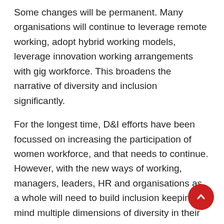Some changes will be permanent. Many organisations will continue to leverage remote working, adopt hybrid working models, leverage innovation working arrangements with gig workforce. This broadens the narrative of diversity and inclusion significantly.
For the longest time, D&I efforts have been focussed on increasing the participation of women workforce, and that needs to continue. However, with the new ways of working, managers, leaders, HR and organisations as a whole will need to build inclusion keeping in mind multiple dimensions of diversity in their workforce today- gender diversity, generational diversity, life stage diversity, sexual orientation, people with disability, tenure in the organisation, experience and education, diversity in